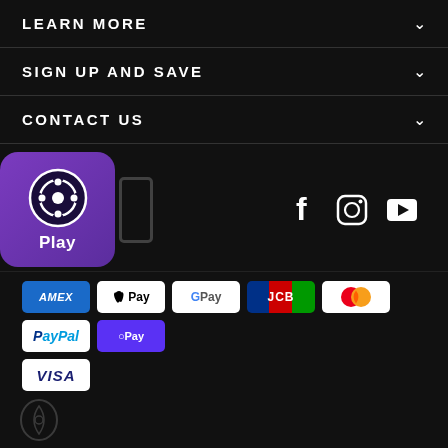LEARN MORE
SIGN UP AND SAVE
CONTACT US
[Figure (logo): PIQO Play app icon: purple rounded square with a circular target/viewfinder icon and 'Play' label below it]
[Figure (infographic): Social media icons: Facebook (f), Instagram (camera), YouTube (play button triangle)]
[Figure (infographic): Payment method badges: AMEX, Apple Pay, Google Pay, JCB, Mastercard, PayPal, Shop Pay, Visa]
© 2022 PIQO - The Smartest Portable Projector All Rights Reserved